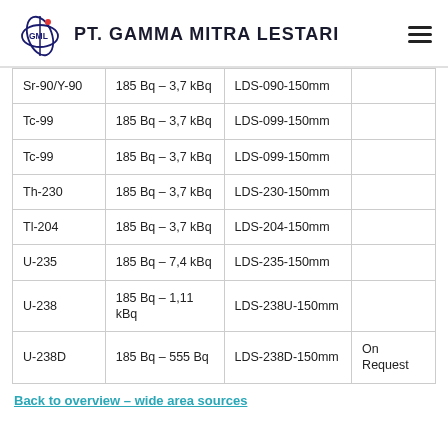PT. GAMMA MITRA LESTARI
|  |  |  |  |
| --- | --- | --- | --- |
| Sr-90/Y-90 | 185 Bq – 3,7 kBq | LDS-090-150mm |  |
| Tc-99 | 185 Bq – 3,7 kBq | LDS-099-150mm |  |
| Tc-99 | 185 Bq – 3,7 kBq | LDS-099-150mm |  |
| Th-230 | 185 Bq – 3,7 kBq | LDS-230-150mm |  |
| Tl-204 | 185 Bq – 3,7 kBq | LDS-204-150mm |  |
| U-235 | 185 Bq – 7,4 kBq | LDS-235-150mm |  |
| U-238 | 185 Bq – 1,11 kBq | LDS-238U-150mm |  |
| U-238D | 185 Bq – 555 Bq | LDS-238D-150mm | On Request |
Back to overview – wide area sources